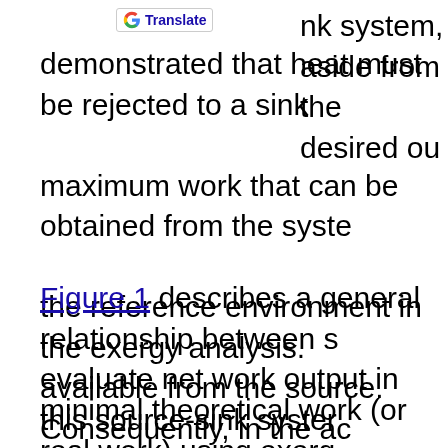k system, aside from the desired ou demonstrated that heat must be rejected to a sink maximum work that can be obtained from the syste the reference environment in the exergy analysis. available from the source. Consequently, in the ac
Figure 1 describes a general relationship between s evaluate net work output in this source-sink syster otherwise available after a resource passes throug
minimal theoretical work (or real work) using exer The concept of reduction of the net output by the a "conventional" output20. On the resources side pre
negative impact on the net output to society of div here is broader than the concept of EROI that on